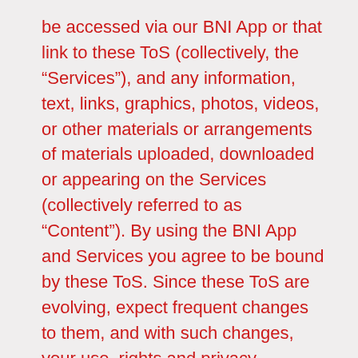be accessed via our BNI App or that link to these ToS (collectively, the “Services”), and any information, text, links, graphics, photos, videos, or other materials or arrangements of materials uploaded, downloaded or appearing on the Services (collectively referred to as “Content”). By using the BNI App and Services you agree to be bound by these ToS. Since these ToS are evolving, expect frequent changes to them, and with such changes, your use, rights and privacy expectations may also change.
1. Who May Use the Services.
If the law in your jurisdiction allows you to enter into agreements with third parties, you agree to these ToS, and you are a member of BNI in good standing, then you can use the BNI App and Services. However, if (a) your mind is legally incapacitated (mental disability, intoxication, under the age of 18, etc.) for any reason, or (b) you are no longer or not yet a member in good standing of BNI, then you are